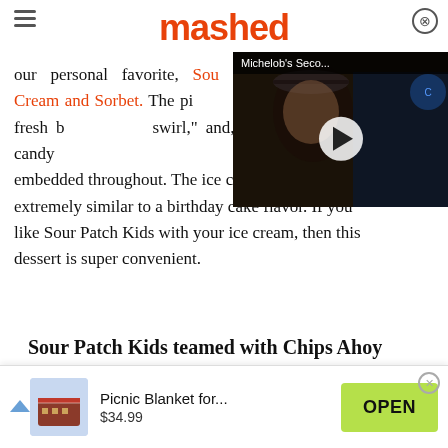mashed
our personal favorite, Sour Patch Kids Ice Cream and Sorbet. The pint contains vanilla ice cream, a fresh blue "swirl," and, of course, bits of the sour candy embedded throughout. The ice cream itself looks extremely similar to a birthday cake flavor. If you like Sour Patch Kids with your ice cream, then this dessert is super convenient.
[Figure (screenshot): Video overlay showing Michelob's Seco... with a man in a baseball cap, dark background, play button in center]
Sour Patch Kids teamed with Chips Ahoy
[Figure (infographic): Advertisement banner: Picnic Blanket for... $34.99 with OPEN button and product image]